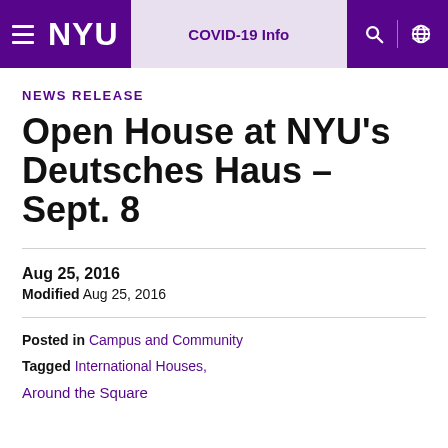[Figure (screenshot): NYU website navigation header bar with hamburger menu, NYU logo, COVID-19 Info button, search icon, and globe icon]
NEWS RELEASE
Open House at NYU's Deutsches Haus – Sept. 8
Aug 25, 2016
Modified Aug 25, 2016
Posted in Campus and Community
Tagged International Houses,
Around the Square